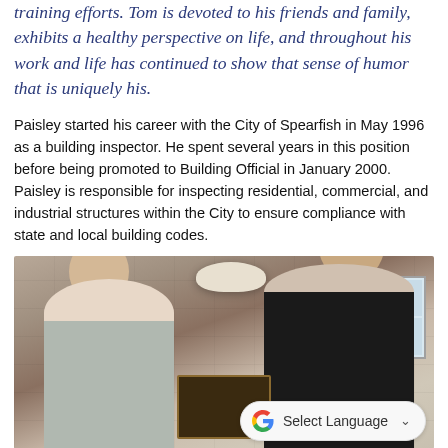training efforts. Tom is devoted to his friends and family, exhibits a healthy perspective on life, and throughout his work and life has continued to show that sense of humor that is uniquely his.
Paisley started his career with the City of Spearfish in May 1996 as a building inspector. He spent several years in this position before being promoted to Building Official in January 2000. Paisley is responsible for inspecting residential, commercial, and industrial structures within the City to ensure compliance with state and local building codes.
[Figure (photo): Two men standing together indoors in front of a stone wall with a pendant lamp above. The man on the left is shorter with grey hair and glasses, wearing a striped polo shirt. The man on the right is taller with grey hair and glasses, wearing a dark blazer. They are holding a dark wooden plaque between them. A Google Translate 'Select Language' dropdown widget is overlaid in the bottom right corner of the photo.]